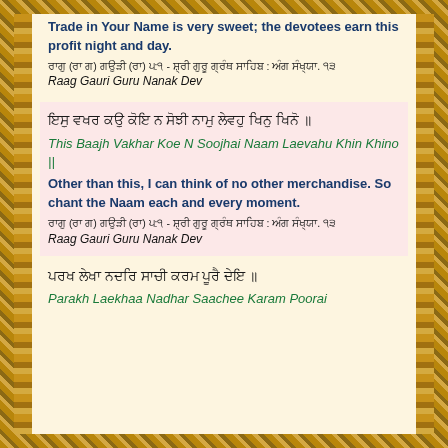Trade in Your Name is very sweet; the devotees earn this profit night and day.
ਰਾਗੁ (ਰਾ ਗ) ਗਉੜੀ (ਰਾ) ੫:੧ - ਸ਼੍ਰੀ ਗੁਰੂ ਗ੍ਰੰਥ ਸਾਹਿਬ : ਅੰਗ ਸੰਖ੍ਯਾ. ੧੩
Raag Gauri Guru Nanak Dev
ਇਸੁ ਵਖਰ ਕਉ ਕੋਇ ਨ ਸੋਝੀ ਨਾਮੁ ਲੇਵਹੁ ਖਿਨੁ ਖਿਨੋ ॥
This Baajh Vakhar Koe N Soojhai Naam Laevahu Khin Khino ||
Other than this, I can think of no other merchandise. So chant the Naam each and every moment.
ਰਾਗੁ (ਰਾ ਗ) ਗਉੜੀ (ਰਾ) ੫:੧ - ਸ਼੍ਰੀ ਗੁਰੂ ਗ੍ਰੰਥ ਸਾਹਿਬ : ਅੰਗ ਸੰਖ੍ਯਾ. ੧੩
Raag Gauri Guru Nanak Dev
ਪਰਖ ਲੇਖਾ ਨਦਰਿ ਸਾਚੀ ਕਰਮ ਪੂਰੈ ਦੇਇ ॥
Parakh Laekhaa Nadhar Saachee Karam Poorai